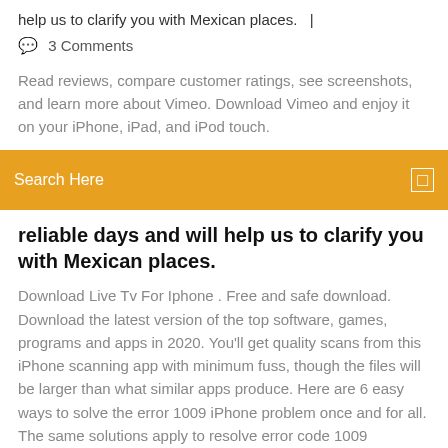help us to clarify you with Mexican places.   |
💬  3 Comments
Read reviews, compare customer ratings, see screenshots, and learn more about Vimeo. Download Vimeo and enjoy it on your iPhone, iPad, and iPod touch.
Search Here
reliable days and will help us to clarify you with Mexican places.
Download Live Tv For Iphone . Free and safe download. Download the latest version of the top software, games, programs and apps in 2020. You'll get quality scans from this iPhone scanning app with minimum fuss, though the files will be larger than what similar apps produce. Here are 6 easy ways to solve the error 1009 iPhone problem once and for all. The same solutions apply to resolve error code 1009 iPhone/iPad as well.